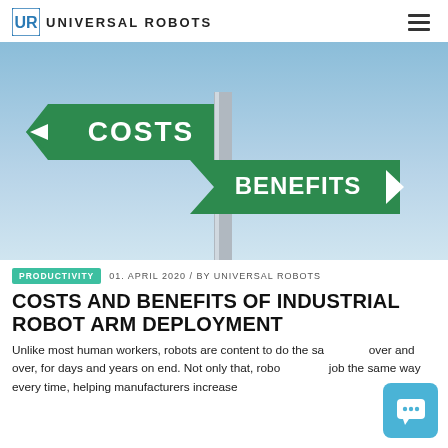UNIVERSAL ROBOTS
[Figure (photo): Two green road signs on a pole against a blue sky. One sign points left and reads 'COSTS', the other points right and reads 'BENEFITS'.]
PRODUCTIVITY   01. APRIL 2020 / BY UNIVERSAL ROBOTS
COSTS AND BENEFITS OF INDUSTRIAL ROBOT ARM DEPLOYMENT
Unlike most human workers, robots are content to do the same task over and over, for days and years on end. Not only that, robots do the job the same way every time, helping manufacturers increase